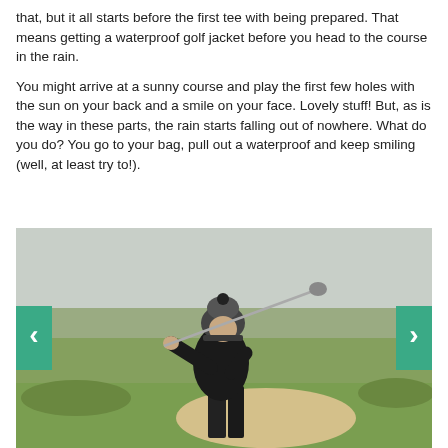that, but it all starts before the first tee with being prepared. That means getting a waterproof golf jacket before you head to the course in the rain.
You might arrive at a sunny course and play the first few holes with the sun on your back and a smile on your face. Lovely stuff! But, as is the way in these parts, the rain starts falling out of nowhere. What do you do? You go to your bag, pull out a waterproof and keep smiling (well, at least try to!).
[Figure (photo): A male golfer wearing a black beanie hat and black waterproof jacket, swinging a golf club on a golf course with grass and bunker visible in the background. Navigation arrows (left and right) are overlaid on the sides of the image.]